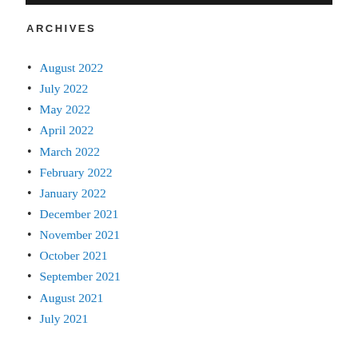ARCHIVES
August 2022
July 2022
May 2022
April 2022
March 2022
February 2022
January 2022
December 2021
November 2021
October 2021
September 2021
August 2021
July 2021